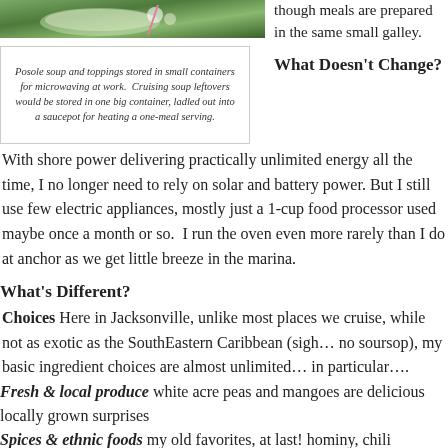[Figure (photo): Photo of posole soup and toppings stored in small containers, viewed from above on a green background.]
Posole soup and toppings stored in small containers for microwaving at work.  Cruising soup leftovers would be stored in one big container, ladled out into a saucepot for heating a one-meal serving.
though meals are prepared in the same small galley.
What Doesn't Change?
With shore power delivering practically unlimited energy all the time, I no longer need to rely on solar and battery power.  But I still use few electric appliances, mostly just a 1-cup food processor used maybe once a month or so.  I run the oven even more rarely than I do at anchor as we get little breeze in the marina.
What's Different?
Choices Here in Jacksonville, unlike most places we cruise, while not as exotic as the SouthEastern Caribbean (sigh… no soursop), my basic ingredient choices are almost unlimited… in particular….
Fresh & local produce white acre peas and mangoes are delicious locally grown surprises
Spices & ethnic foods my old favorites, at last! hominy, chili